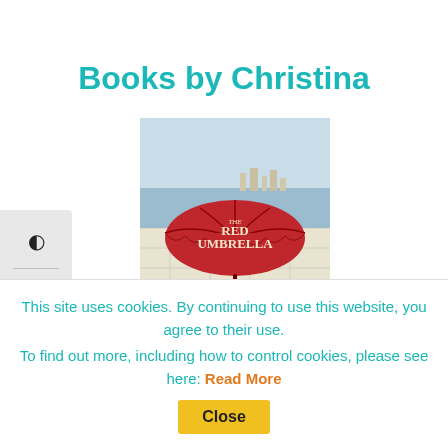Books by Christina
[Figure (illustration): Book cover of 'The Red Umbrella' by Christina Diaz Gonzalez, showing a red umbrella against a coastal/map background with the text 'The Red Umbrella' and 'Christina Diaz Gonzalez']
This site uses cookies. By continuing to use this website, you agree to their use. To find out more, including how to control cookies, please see here: Read More
Close